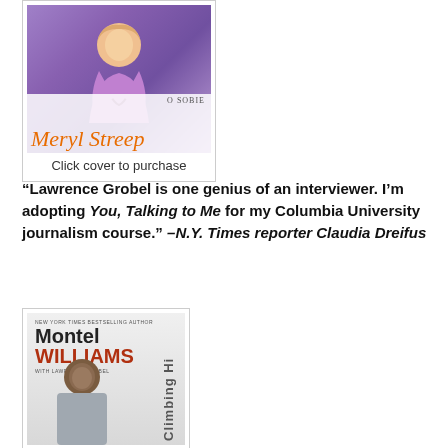[Figure (photo): Book cover for Meryl Streep 'O Sobie' with a woman in purple sitting cross-legged, with orange cursive 'Meryl Streep' text overlay]
Click cover to purchase
“Lawrence Grobel is one genius of an interviewer. I’m adopting You, Talking to Me for my Columbia University journalism course.” –N.Y. Times reporter Claudia Dreifus
[Figure (photo): Book cover for Montel Williams 'Climbing High' with Lawrence Grobel, showing Montel Williams portrait in grey shirt against light background]